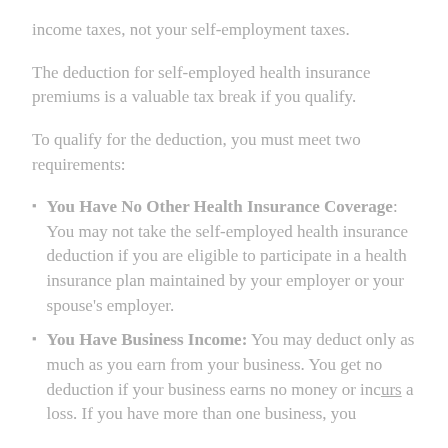income taxes, not your self-employment taxes.
The deduction for self-employed health insurance premiums is a valuable tax break if you qualify.
To qualify for the deduction, you must meet two requirements:
You Have No Other Health Insurance Coverage: You may not take the self-employed health insurance deduction if you are eligible to participate in a health insurance plan maintained by your employer or your spouse's employer.
You Have Business Income: You may deduct only as much as you earn from your business. You get no deduction if your business earns no money or incurs a loss. If you have more than one business, you